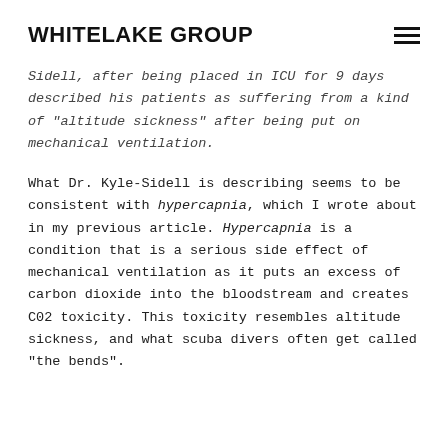WHITELAKE GROUP
Sidell, after being placed in ICU for 9 days described his patients as suffering from a kind of “altitude sickness” after being put on mechanical ventilation.
What Dr. Kyle-Sidell is describing seems to be consistent with hypercapnia, which I wrote about in my previous article. Hypercapnia is a condition that is a serious side effect of mechanical ventilation as it puts an excess of carbon dioxide into the bloodstream and creates C02 toxicity. This toxicity resembles altitude sickness, and what scuba divers often get called “the bends”.